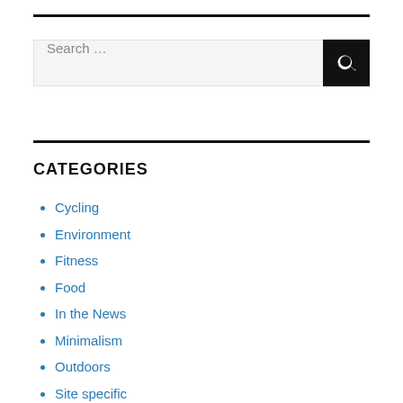[Figure (screenshot): Search input field with placeholder text 'Search ...' and a black search button with magnifying glass icon]
CATEGORIES
Cycling
Environment
Fitness
Food
In the News
Minimalism
Outdoors
Site specific